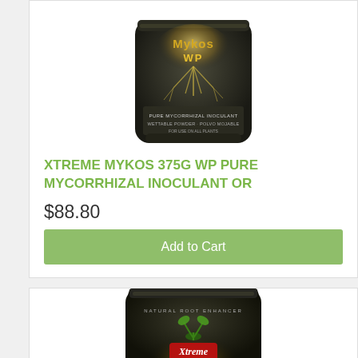[Figure (photo): MykosWP dark/black product bag with root illustration and gold/orange branding on a white background]
XTREME MYKOS 375G WP PURE MYCORRHIZAL INOCULANT OR
$88.80
Add to Cart
[Figure (photo): Xtreme Gardening dark/black product bag with green plant sprout and golden glow branding, natural root enhancer]